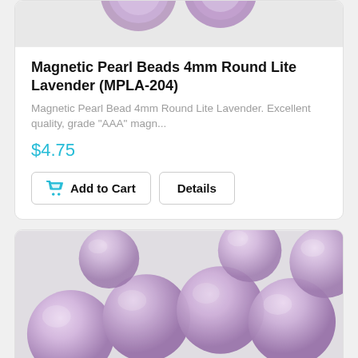[Figure (photo): Close-up photo of purple/lavender magnetic pearl beads, cropped at top]
Magnetic Pearl Beads 4mm Round Lite Lavender (MPLA-204)
Magnetic Pearl Bead 4mm Round Lite Lavender. Excellent quality, grade "AAA" magn...
$4.75
Add to Cart   Details
[Figure (photo): Close-up photo of lavender/light purple round pearl beads arranged in a cluster]